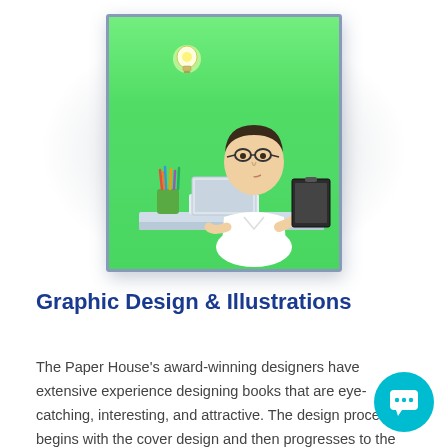[Figure (photo): A man wearing glasses sits at a desk with a laptop and holds a clipboard/folder. A cup of colored pencils is on the desk. A glowing light bulb floats above him. The background is bright green. The image is framed with a grey-blue border and has a radial shadow effect around it.]
Graphic Design & Illustrations
The Paper House's award-winning designers have extensive experience designing books that are eye-catching, interesting, and attractive. The design process begins with the cover design and then progresses to the page design and composition. We